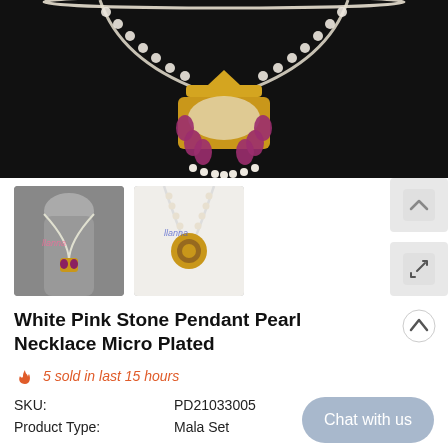[Figure (photo): Main product image: gold pendant necklace with white and pink/ruby stones on pearl chain, displayed on a black jewelry stand against dark background]
[Figure (photo): Thumbnail 1: necklace on mannequin bust, showing full length pearl chain with pendant]
[Figure (photo): Thumbnail 2: close-up of pendant detail]
White Pink Stone Pendant Pearl Necklace Micro Plated
5 sold in last 15 hours
SKU: PD21033005
Product Type: Mala Set
Chat with us